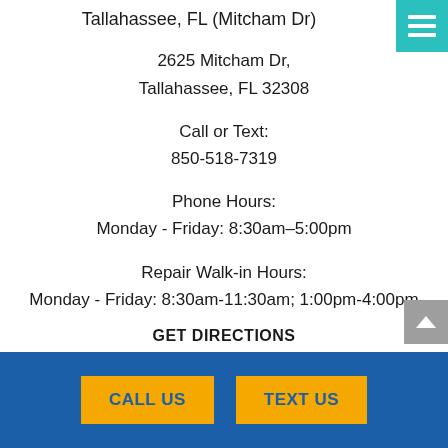Tallahassee, FL (Mitcham Dr)
2625 Mitcham Dr,
Tallahassee, FL 32308
Call or Text:
850-518-7319
Phone Hours:
Monday - Friday: 8:30am–5:00pm
Repair Walk-in Hours:
Monday - Friday: 8:30am-11:30am; 1:00pm-4:00pm
GET DIRECTIONS
CALL US
TEXT US